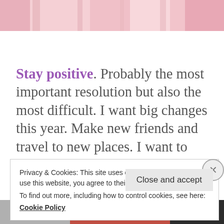[Figure (photo): Top strip showing pink/rose colored image, partially cropped]
Stay positive. Probably the most important resolution but also the most difficult. I want big changes this year. Make new friends and travel to new places. I want to think positively, be around good energy, think
Privacy & Cookies: This site uses cookies. By continuing to use this website, you agree to their use.
To find out more, including how to control cookies, see here:
Cookie Policy
Close and accept
[Figure (photo): Bottom strip showing partial image with orange/red and dark tones]